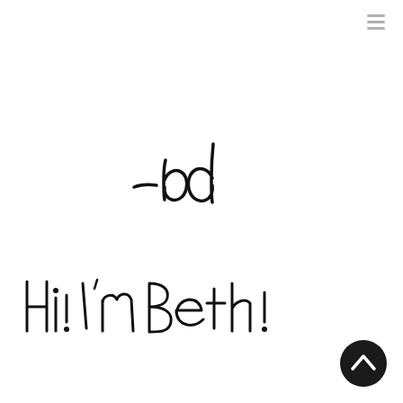[Figure (logo): Gray menu/hamburger-like UI icon in top right corner]
[Figure (illustration): Handwritten signature reading '-bd' in black cursive script]
Hi! I'm Beth!
[Figure (illustration): Dark circular scroll-to-top button with upward chevron arrow in bottom right corner]